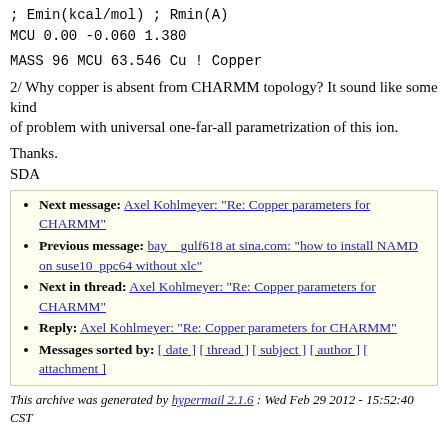; Emin(kcal/mol) ; Rmin(A)
MCU 0.00 -0.060 1.380
MASS 96 MCU 63.546 Cu ! Copper
2/ Why copper is absent from CHARMM topology? It sound like some kind of problem with universal one-far-all parametrization of this ion.
Thanks.
SDA
Next message: Axel Kohlmeyer: "Re: Copper parameters for CHARMM"
Previous message: bay__gulf618 at sina.com: "how to install NAMD on suse10_ppc64 without xlc"
Next in thread: Axel Kohlmeyer: "Re: Copper parameters for CHARMM"
Reply: Axel Kohlmeyer: "Re: Copper parameters for CHARMM"
Messages sorted by: [ date ] [ thread ] [ subject ] [ author ] [ attachment ]
This archive was generated by hypermail 2.1.6 : Wed Feb 29 2012 - 15:52:40 CST